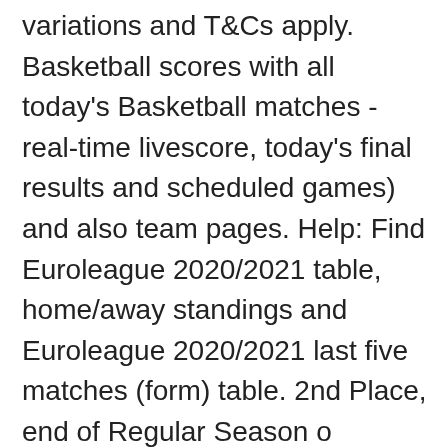variations and T&Cs apply. Basketball scores with all today's Basketball matches - real-time livescore, today's final results and scheduled games) and also team pages. Help: Find Euroleague 2020/2021 table, home/away standings and Euroleague 2020/2021 last five matches (form) table. 2nd Place, end of Regular Season o EuroLeague official Spalding basketball o ... Use Basketball item in the main navigation to browse through other Basketball leagues and to find more competitions from Europe category, including history results, tables and statistics. Besides Euroleague 2020/2021 scores you can follow 150+ basketball competitions from 30+ countries around the world on FlashScore.info. Competition schedule, results, stats, teams and players profile, news, games highlights, photos, videos and event guide. Live scores on